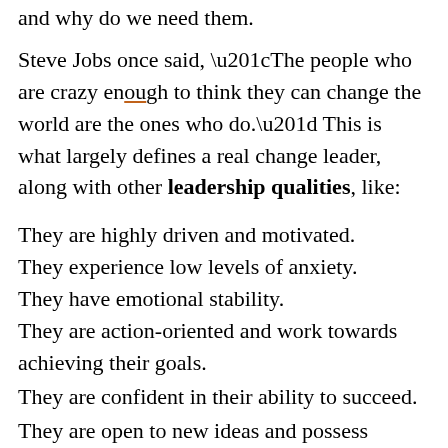and why do we need them.
Steve Jobs once said, “The people who are crazy enough to think they can change the world are the ones who do.” This is what largely defines a real change leader, along with other leadership qualities, like:
They are highly driven and motivated.
They experience low levels of anxiety.
They have emotional stability.
They are action-oriented and work towards achieving their goals.
They are confident in their ability to succeed.
They are open to new ideas and possess multidimensional
They take calculated risks and have the ability to